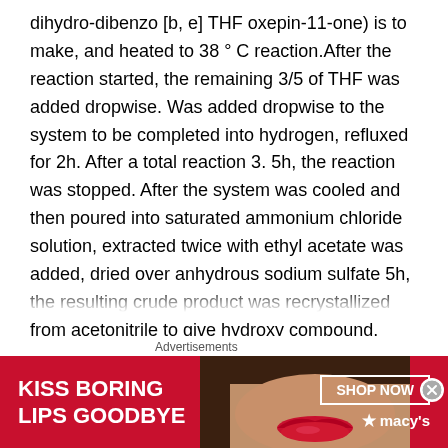dihydro-dibenzo [b, e] THF oxepin-11-one) is to make, and heated to 38 ° C reaction.After the reaction started, the remaining 3/5 of THF was added dropwise. Was added dropwise to the system to be completed into hydrogen, refluxed for 2h. After a total reaction 3. 5h, the reaction was stopped. After the system was cooled and then poured into saturated ammonium chloride solution, extracted twice with ethyl acetate was added, dried over anhydrous sodium sulfate 5h, the resulting crude product was recrystallized from acetonitrile to give hydroxy compound.
[0068] placed in a 20L reaction vessel above hydroxy compound, an ethanol solution of 2-hydroxysteroid times
[Figure (other): Advertisement banner for Macy's lipstick product reading 'KISS BORING LIPS GOODBYE' with a SHOP NOW button and Macy's star logo, featuring a close-up photo of a woman's lips.]